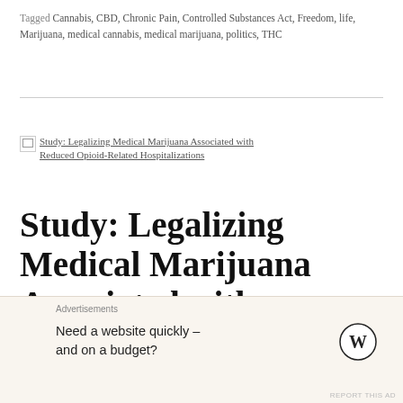Tagged Cannabis, CBD, Chronic Pain, Controlled Substances Act, Freedom, life, Marijuana, medical cannabis, medical marijuana, politics, THC
[Figure (other): Broken thumbnail image linking to article: Study: Legalizing Medical Marijuana Associated with Reduced Opioid-Related Hospitalizations]
Study: Legalizing Medical Marijuana Associated with Reduced Opioid-Related
Advertisements
Need a website quickly – and on a budget?